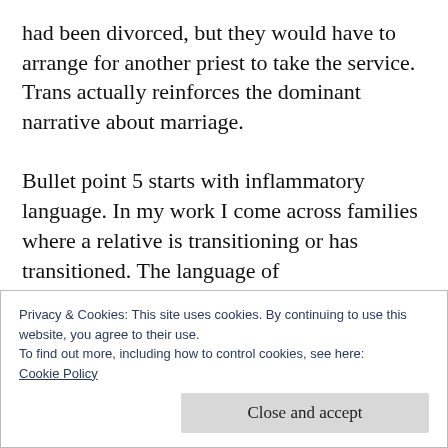had been divorced, but they would have to arrange for another priest to take the service. Trans actually reinforces the dominant narrative about marriage.

Bullet point 5 starts with inflammatory language. In my work I come across families where a relative is transitioning or has transitioned. The language of ‘traumatic’ etc is not used. The language is ‘difficult’ or ‘challenging.’ What they need is support.
Privacy & Cookies: This site uses cookies. By continuing to use this website, you agree to their use.
To find out more, including how to control cookies, see here: Cookie Policy